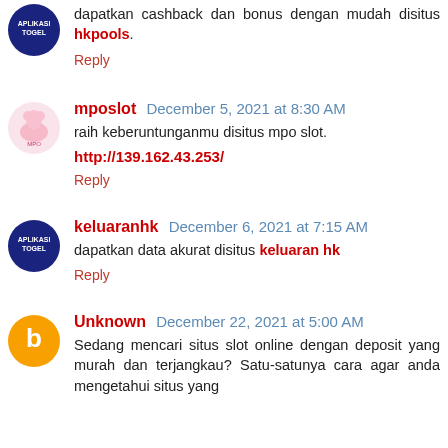dapatkan cashback dan bonus dengan mudah disitus hkpools.
Reply
mposlot  December 5, 2021 at 8:30 AM
raih keberuntunganmu disitus mpo slot.
http://139.162.43.253/
Reply
keluaranhk  December 6, 2021 at 7:15 AM
dapatkan data akurat disitus keluaran hk
Reply
Unknown  December 22, 2021 at 5:00 AM
Sedang mencari situs slot online dengan deposit yang murah dan terjangkau? Satu-satunya cara agar anda mengetahui situs yang...